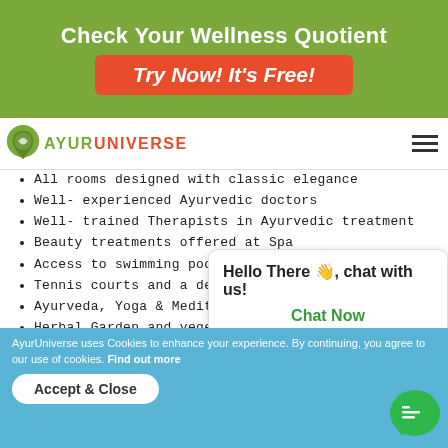Check Your Wellness Quotient
Try Now! It's Free!
[Figure (logo): AyurUniverse logo with green map pin icon and red/green text]
All rooms designed with classic elegance
Well- experienced Ayurvedic doctors
Well- trained Therapists in Ayurvedic treatment
Beauty treatments offered at Spa
Access to swimming pool surrounded by lush tree
Tennis courts and a dedicated yoga hall
Ayurveda, Yoga & Meditation sessions
Herbal Garden and vegetables
Location: Mysore, India
Accommodation: Rooms & Suites, Standard rooms, Deluxe accommodation, Luxury cottages
Climate: Tropical temperature
Nearest International Airport - International Airport
Hello There, chat with us!
Chat Now
AyurUniverse uses Cookies to enhance your experience. By continuing, you agree to our use of cookies. Find out more
Accept & Close